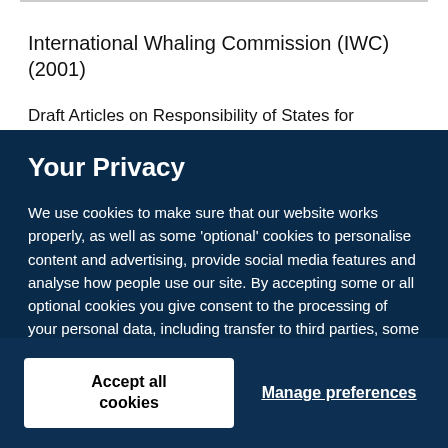International Whaling Commission (IWC) (2001)
Draft Articles on Responsibility of States for
Your Privacy
We use cookies to make sure that our website works properly, as well as some ‘optional’ cookies to personalise content and advertising, provide social media features and analyse how people use our site. By accepting some or all optional cookies you give consent to the processing of your personal data, including transfer to third parties, some in countries outside of the European Economic Area that do not offer the same data protection standards as the country where you live. You can decide which optional cookies to accept by clicking on ‘Manage Settings’, where you can also find more information about how your personal data is processed. Further information can be found in our privacy policy.
Accept all cookies
Manage preferences